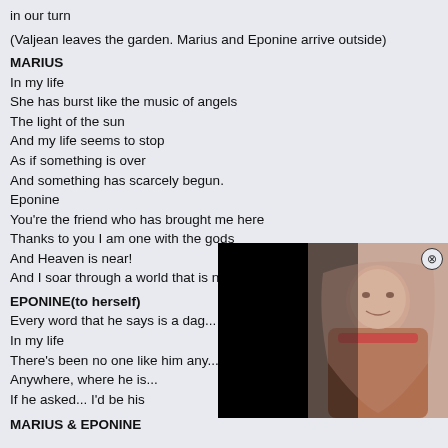in our turn
(Valjean leaves the garden. Marius and Eponine arrive outside)
MARIUS
In my life
She has burst like the music of angels
The light of the sun
And my life seems to stop
As if something is over
And something has scarcely begun.
Eponine
You're the friend who has brought me here
Thanks to you I am one with the gods
And Heaven is near!
And I soar through a world that is new that is free
EPONINE(to herself)
Every word that he says is a dag...
In my life
There's been no one like him any...
Anywhere, where he is...
If he asked... I'd be his
[Figure (photo): A smiling woman with long dark hair wearing a red top, partially obscured by a black panel on the left side. A close button (X in a circle) appears in the top right corner of the overlay.]
MARIUS & EPONINE